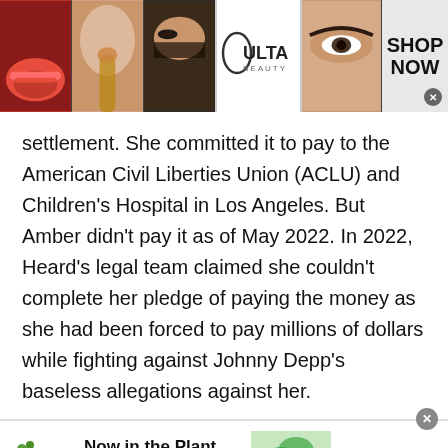[Figure (screenshot): Ulta Beauty advertisement banner at the top showing makeup/beauty photos, Ulta logo, and 'SHOP NOW' call-to-action button]
settlement. She committed it to pay to the American Civil Liberties Union (ACLU) and Children's Hospital in Los Angeles. But Amber didn't pay it as of May 2022. In 2022, Heard's legal team claimed she couldn't complete her pledge of paying the money as she had been forced to pay millions of dollars while fighting against Johnny Depp's baseless allegations against her.
[Figure (screenshot): 1-800-flowers.com advertisement banner showing 'Now in the Plant Shop - Fresh picks for summer' with plant imagery and 'SEE WHAT'S NEW' button]